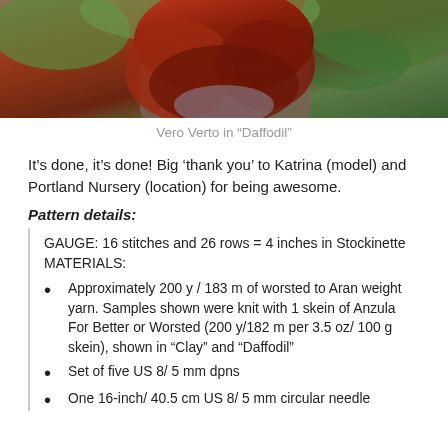[Figure (photo): Photo of a person with long red/auburn hair, back facing camera, outdoors with green foliage in background]
Vero Verto in “Daffodil”
It’s done, it’s done! Big ‘thank you’ to Katrina (model) and Portland Nursery (location) for being awesome.
Pattern details:
GAUGE: 16 stitches and 26 rows = 4 inches in Stockinette MATERIALS:
Approximately 200 y / 183 m of worsted to Aran weight yarn. Samples shown were knit with 1 skein of Anzula For Better or Worsted (200 y/182 m per 3.5 oz/ 100 g skein), shown in “Clay” and “Daffodil”
Set of five US 8/ 5 mm dpns
One 16-inch/ 40.5 cm US 8/ 5 mm circular needle